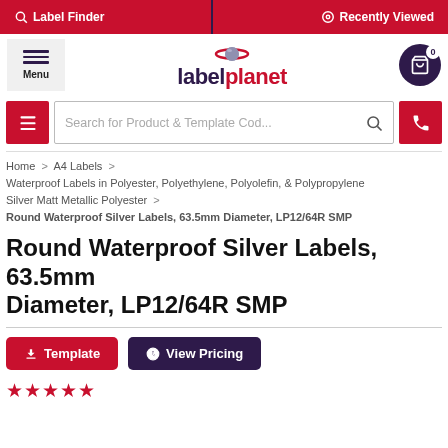Label Finder   Recently Viewed
[Figure (logo): Label Planet logo with red planet/swoosh icon and purple 'label' + red 'planet' wordmark]
Search for Product & Template Cod...
Home > A4 Labels > Waterproof Labels in Polyester, Polyethylene, Polyolefin, & Polypropylene > Silver Matt Metallic Polyester > Round Waterproof Silver Labels, 63.5mm Diameter, LP12/64R SMP
Round Waterproof Silver Labels, 63.5mm Diameter, LP12/64R SMP
Template   View Pricing